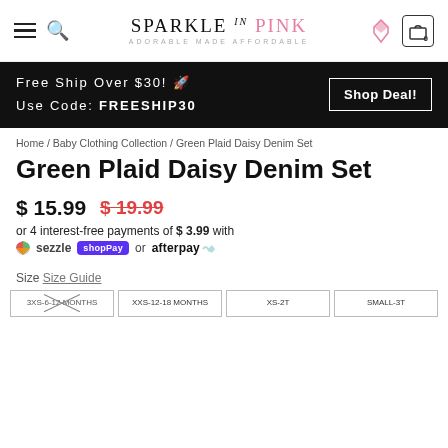SPARKLE IN PINK — ADORABLE MADE AFFORDABLE — navigation header with hamburger menu, search, diamond icon, and cart
Free Ship Over $30! 🚀 Use Code: FREESHIP30  Shop Deal!
Home / Baby Clothing Collection / Green Plaid Daisy Denim Set
Green Plaid Daisy Denim Set
$ 15.99  $ 19.99
or 4 interest-free payments of $ 3.99 with sezzle shop Pay or afterpay
Size  Size Guide
3XS-6-12 MONTHS   XXS-12-18 MONTHS   XS-2T   SMALL-3T